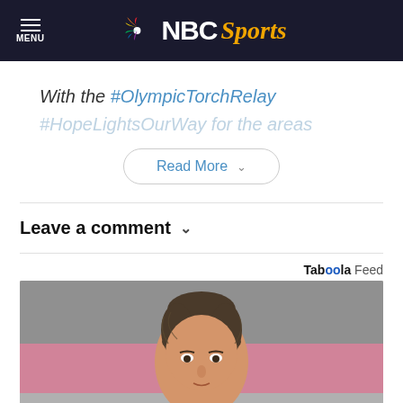NBC Sports
With the #OlympicTorchRelay #HopeLightsOurWay for the areas
Read More
Leave a comment
Taboola Feed
[Figure (photo): Close-up photo of a young woman with dark hair in a loose bun, wearing pink clothing, looking directly at camera against a blurred background]